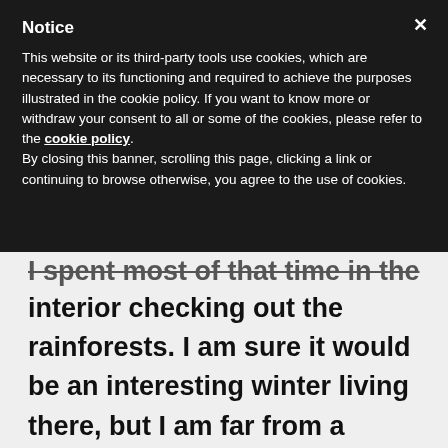Notice
This website or its third-party tools use cookies, which are necessary to its functioning and required to achieve the purposes illustrated in the cookie policy. If you want to know more or withdraw your consent to all or some of the cookies, please refer to the cookie policy. By closing this banner, scrolling this page, clicking a link or continuing to browse otherwise, you agree to the use of cookies.
I spent most of that time in the interior checking out the rainforests. I am sure it would be an interesting winter living there, but I am far from a Guyana expert as far as living there. If you like birds and rainforests, there is always something to do and see. I am not sure what your interests